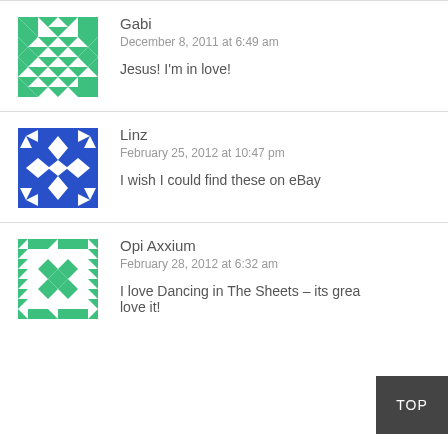[Figure (illustration): Green geometric quilt-pattern avatar for user Gabi]
Gabi
December 8, 2011 at 6:49 am
Jesus! I'm in love!
[Figure (illustration): Blue geometric star-pattern avatar for user Linz]
Linz
February 25, 2012 at 10:47 pm
I wish I could find these on eBay
[Figure (illustration): Green geometric quilt-pattern avatar for user Opi Axxium]
Opi Axxium
February 28, 2012 at 6:32 am
I love Dancing in The Sheets – its grea love it!